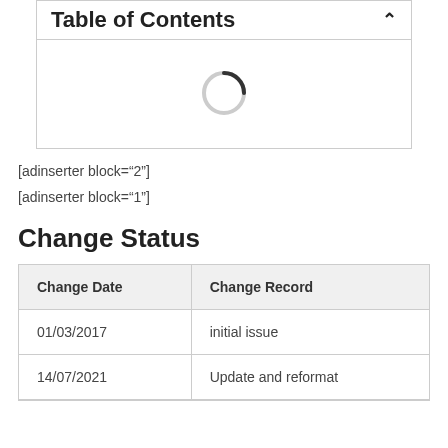Table of Contents
[Figure (other): Loading spinner icon (circular arc indicating loading state)]
[adinserter block="2"]
[adinserter block="1"]
Change Status
| Change Date | Change Record |
| --- | --- |
| 01/03/2017 | initial issue |
| 14/07/2021 | Update and reformat |